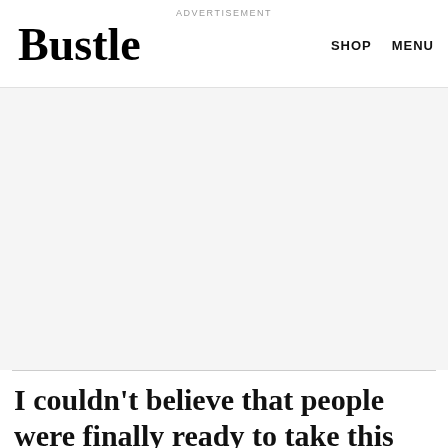ADVERTISEMENT | Bustle | SHOP | MENU
[Figure (other): Advertisement placeholder area with light gray background]
I couldn't believe that people were finally ready to take this message – one